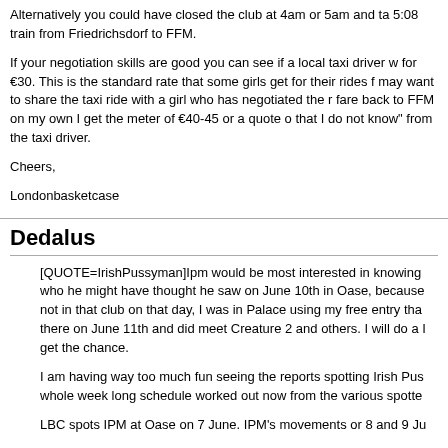Alternatively you could have closed the club at 4am or 5am and ta 5:08 train from Friedrichsdorf to FFM.
If your negotiation skills are good you can see if a local taxi driver w for €30. This is the standard rate that some girls get for their rides f may want to share the taxi ride with a girl who has negotiated the r fare back to FFM on my own I get the meter of €40-45 or a quote o that I do not know" from the taxi driver.
Cheers,
Londonbasketcase
Dedalus
[QUOTE=IrishPussyman]Ipm would be most interested in knowing who he might have thought he saw on June 10th in Oase, because not in that club on that day, I was in Palace using my free entry tha there on June 11th and did meet Creature 2 and others. I will do a I get the chance.
I am having way too much fun seeing the reports spotting Irish Pus whole week long schedule worked out now from the various spotte
LBC spots IPM at Oase on 7 June. IPM's movements or 8 and 9 Ju